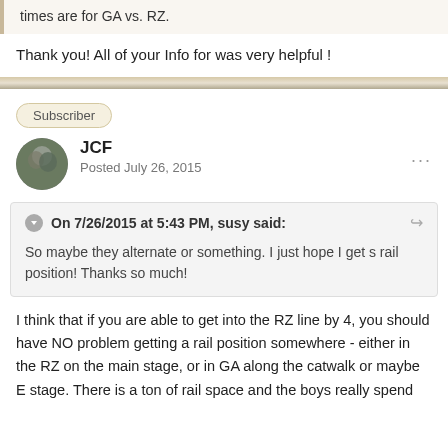times are for GA vs. RZ.
Thank you! All of your Info for was very helpful !
Subscriber
JCF
Posted July 26, 2015
On 7/26/2015 at 5:43 PM, susy said:
So maybe they alternate or something. I just hope I get s rail position! Thanks so much!
I think that if you are able to get into the RZ line by 4, you should have NO problem getting a rail position somewhere - either in the RZ on the main stage, or in GA along the catwalk or maybe E stage.  There is a ton of rail space and the boys really spend